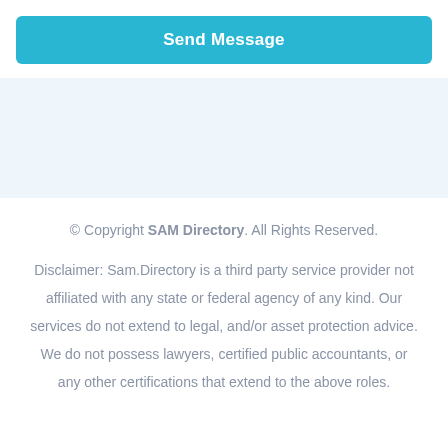Send Message
© Copyright SAM Directory. All Rights Reserved.
Disclaimer: Sam.Directory is a third party service provider not affiliated with any state or federal agency of any kind. Our services do not extend to legal, and/or asset protection advice. We do not possess lawyers, certified public accountants, or any other certifications that extend to the above roles.